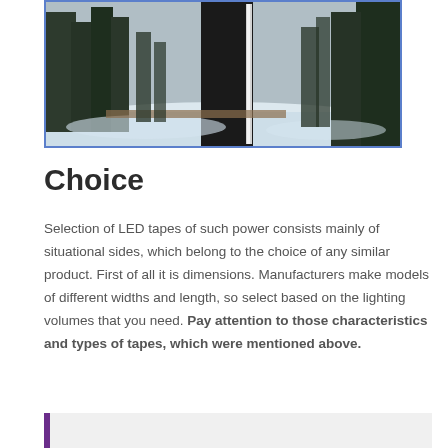[Figure (photo): Outdoor winter scene showing a tall black rectangular LED lighting column/bollard with snow on the ground and pine trees in the background. The column appears to have LED tape lighting on it.]
Choice
Selection of LED tapes of such power consists mainly of situational sides, which belong to the choice of any similar product. First of all it is dimensions. Manufacturers make models of different widths and length, so select based on the lighting volumes that you need. Pay attention to those characteristics and types of tapes, which were mentioned above.